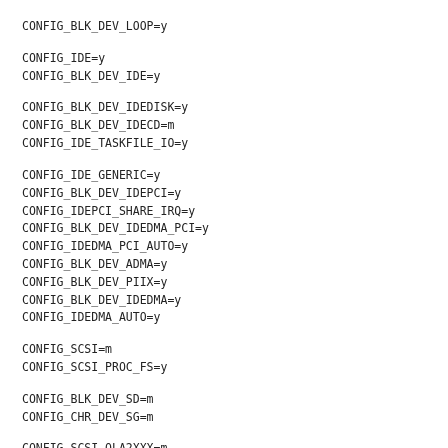CONFIG_BLK_DEV_LOOP=y
CONFIG_IDE=y
CONFIG_BLK_DEV_IDE=y
CONFIG_BLK_DEV_IDEDISK=y
CONFIG_BLK_DEV_IDECD=m
CONFIG_IDE_TASKFILE_IO=y
CONFIG_IDE_GENERIC=y
CONFIG_BLK_DEV_IDEPCI=y
CONFIG_IDEPCI_SHARE_IRQ=y
CONFIG_BLK_DEV_IDEDMA_PCI=y
CONFIG_IDEDMA_PCI_AUTO=y
CONFIG_BLK_DEV_ADMA=y
CONFIG_BLK_DEV_PIIX=y
CONFIG_BLK_DEV_IDEDMA=y
CONFIG_IDEDMA_AUTO=y
CONFIG_SCSI=m
CONFIG_SCSI_PROC_FS=y
CONFIG_BLK_DEV_SD=m
CONFIG_CHR_DEV_SG=m
CONFIG_SCSI_QLA2XXX=m